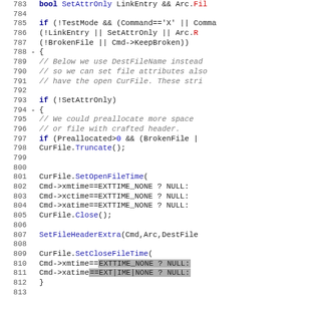[Figure (screenshot): Source code listing showing C++ code lines 783-812, with line numbers, diff markers (-), keywords in bold dark blue, comments in italic gray, and function calls in blue. Lines 810-811 have a gray highlight overlay. Code relates to file operations: TestMode checks, SetAttrOnly, BrokenFile, CurFile operations including SetOpenFileTime, Close, SetCloseFileTime, and SetFileHeaderExtra calls.]